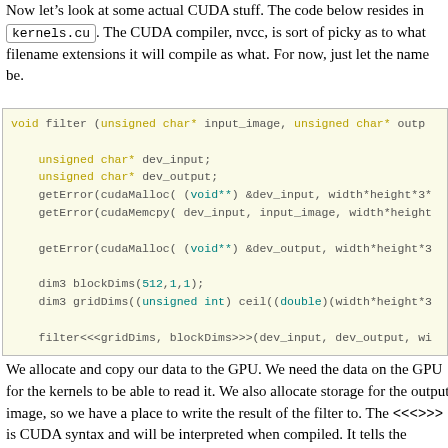Now let's look at some actual CUDA stuff. The code below resides in kernels.cu. The CUDA compiler, nvcc, is sort of picky as to what filename extensions it will compile as what. For now, just let the name be.
[Figure (screenshot): Code block showing a CUDA C++ function named filter, with syntax highlighting. Yellow keywords (void, unsigned, char), teal values (512,1,1, unsigned int, void**, double), and gray default text on a pale yellow background.]
We allocate and copy our data to the GPU. We need the data on the GPU for the kernels to be able to read it. We also allocate storage for the output image, so we have a place to write the result of the filter to. The <<<>>> is CUDA syntax and will be interpreted when compiled. It tells the